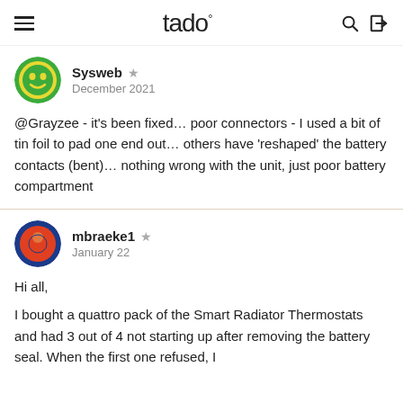tado°
Sysweb ★
December 2021
@Grayzee - it's been fixed… poor connectors - I used a bit of tin foil to pad one end out… others have 'reshaped' the battery contacts (bent)… nothing wrong with the unit, just poor battery compartment
mbraeke1 ★
January 22
Hi all,

I bought a quattro pack of the Smart Radiator Thermostats and had 3 out of 4 not starting up after removing the battery seal. When the first one refused, I